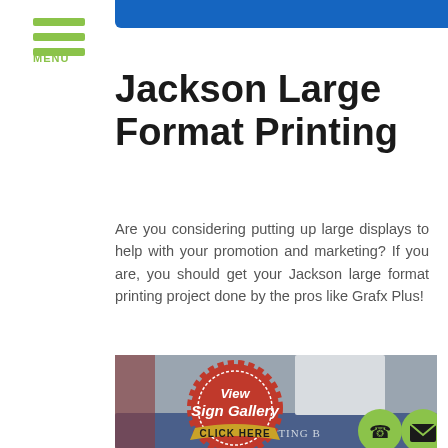MENU
Jackson Large Format Printing
Are you considering putting up large displays to help with your promotion and marketing? If you are, you should get your Jackson large format printing project done by the pros like Grafx Plus!
[Figure (photo): Photo of a storefront sign reading 'AT GETTING BR...' with a red seal badge overlay saying 'View Sign Gallery CLICK HERE']